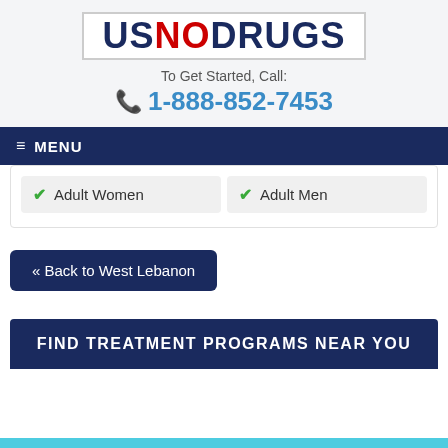[Figure (logo): USNODRUGS logo with US and DRUGS in dark navy blue and NO in red, on white background with border]
To Get Started, Call:
1-888-852-7453
≡ MENU
✔ Adult Women
✔ Adult Men
« Back to West Lebanon
FIND TREATMENT PROGRAMS NEAR YOU